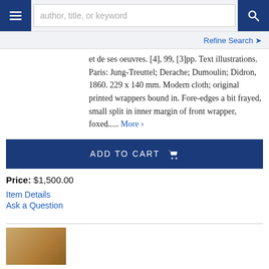author, title, or keyword [search bar with hamburger menu and search button]
Refine Search ❯
et de ses oeuvres. [4], 99, [3]pp. Text illustrations. Paris: Jung-Treuttel; Derache; Dumoulin; Didron, 1860. 229 x 140 mm. Modern cloth; original printed wrappers bound in. Fore-edges a bit frayed, small split in inner margin of front wrapper, foxed..... More ›
ADD TO CART 🛒
Price: $1,500.00
Item Details
Ask a Question